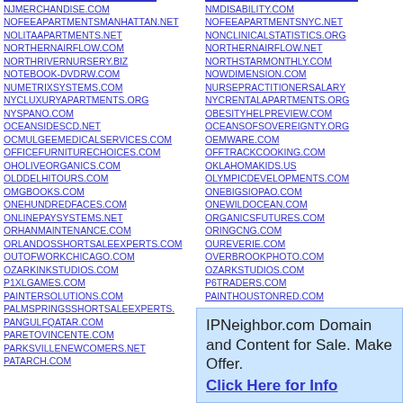NJMERCHANDISE.COM
NOFEEAPARTMENTSMANHATTAN.NET
NOLITAAPARTMENTS.NET
NORTHERNAIRFLOW.COM
NORTHRIVERNURSERY.BIZ
NOTEBOOK-DVDRW.COM
NUMETRIXSYSTEMS.COM
NYCLUXURYAPARTMENTS.ORG
NYSPANO.COM
OCEANSIDESCD.NET
OCMULGEEMEDICALSERVICES.COM
OFFICEFURNITURECHOICES.COM
OHOLIVEORGANICS.COM
OLDDELHITOURS.COM
OMGBOOKS.COM
ONEHUNDREDFACES.COM
ONLINEPAYSYSTEMS.NET
ORHANMAINTENANCE.COM
ORLANDOSSHORTSALEEXPERTS.COM
OUTOFWORKCHICAGO.COM
OZARKINKSTUDIOS.COM
P1XLGAMES.COM
PAINTERSOLUTIONS.COM
PALMSPRINGSSHORTSALEEXPERTS.COM
PANGULFQATAR.COM
PARETOVINCENTE.COM
PARKSVILLENEWCOMERS.NET
PATARCH.COM
NMDISABILITY.COM
NOFEEAPARTMENTSNYC.NET
NONCLINICALSTATISTICS.ORG
NORTHERNAIRFLOW.NET
NORTHSTARMONTHLY.COM
NOWDIMENSION.COM
NURSEPRACTITIONERSALARY
NYCRENTALAPARTMENTS.ORG
OBESITYHELPREVIEW.COM
OCEANSOFSOVEREIGNTY.ORG
OEMWARE.COM
OFFTRACKCOOKING.COM
OKLAHOMAKIDS.US
OLYMPICDEVELOPMENTS.COM
ONEBIGSIOPAO.COM
ONEWILDOCEAN.COM
ORGANICSFUTURES.COM
ORINGCNG.COM
OUREVERIE.COM
OVERBROOKPHOTO.COM
OZARKSTUDIOS.COM
P6TRADERS.COM
PAINTHOUSTONRED.COM
IPNeighbor.com Domain and Content for Sale. Make Offer. Click Here for Info